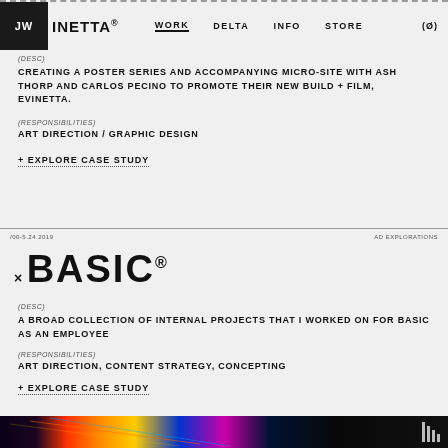JW  INETTA®  WORK  DELTA  INFO  STORE  (Ø)
(DESC)
CREATING A POSTER SERIES AND ACCOMPANYING MICRO-SITE WITH ASH THORP AND CARLOS PECINO TO PROMOTE THEIR NEW BUILD + FILM, EVINETTA.
(RESPONSIBILITIES)
ART DIRECTION / GRAPHIC DESIGN
+ EXPLORE CASE STUDY
/00-5.24.2019   AD EXPLORATIONS
× BASIC®
(DESC)
A BROAD COLLECTION OF INTERNAL PROJECTS THAT I WORKED ON FOR BASIC AS AN EMPLOYEE
(RESPONSIBILITIES)
ART DIRECTION, CONTENT STRATEGY, CONCEPTING
+ EXPLORE CASE STUDY
[Figure (photo): Abstract colorful light streak image at the bottom of the page]